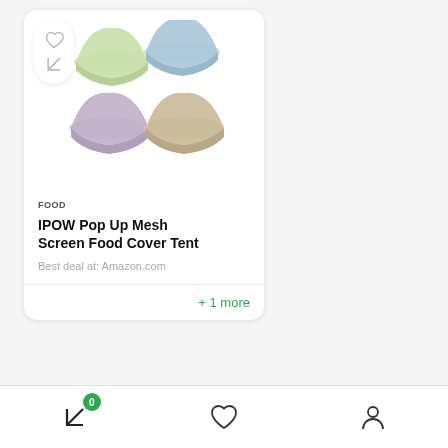[Figure (photo): Product card showing four pastel-colored pop-up mesh food cover tents (green, blue, purple, beige) arranged in a 2x2 grid on white background]
FOOD
IPOW Pop Up Mesh Screen Food Cover Tent
Best deal at: Amazon.com
+ 1 more
[Figure (screenshot): Bottom navigation bar with compare icon (with badge showing 0), heart/wishlist icon, and user/account icon]